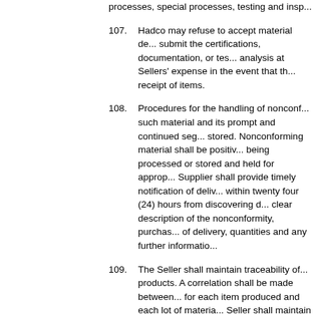processes, special processes, testing and insp...
107. Hadco may refuse to accept material de... submit the certifications, documentation, or tes... analysis at Sellers' expense in the event that th... receipt of items.
108. Procedures for the handling of nonconf... such material and its prompt and continued seg... stored. Nonconforming material shall be positiv... being processed or stored and held for approp... Supplier shall provide timely notification of deliv... within twenty four (24) hours from discovering d... clear description of the nonconformity, purchas... of delivery, quantities and any further informatio...
109. The Seller shall maintain traceability of... products. A correlation shall be made between... for each item produced and each lot of materia... Seller shall maintain controls to assure preserv... lack of a specific requirement in the purchase o... for packaging in a manner that will insure recei...
110. Quantities in excess of that shown in th... Seller's risk and expense. Any excess quantitie... price or below.
111. The goods furnished are exactly as spe... defects. The goods furnished are subject to ins...
112. Seller warrants that all goods and servi... delivered and furnished in strict compliance wit...